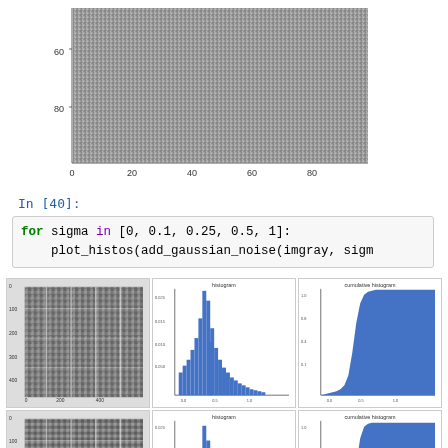[Figure (continuous-plot): Grayscale noise image plot with y-axis showing values 60 and 80, x-axis showing 0, 20, 40, 60, 80]
In [40]:
for sigma in [0, 0.1, 0.25, 0.5, 1]:
    plot_histos(add_gaussian_noise(imgray, sigm
[Figure (continuous-plot): Row 1: grayscale parrot image, histogram with peak near 0.4, cumulative histogram S-curve]
[Figure (continuous-plot): Row 2: grayscale parrot image with slight noise, histogram with narrower peak, cumulative histogram]